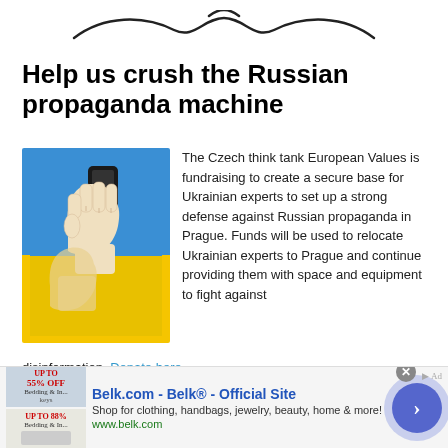[Figure (illustration): Decorative swirl/flourish divider at top of page]
Help us crush the Russian propaganda machine
[Figure (illustration): Graphic of a raised fist holding a smartphone against a blue and yellow Ukrainian flag background]
The Czech think tank European Values is fundraising to create a secure base for Ukrainian experts to set up a strong defense against Russian propaganda in Prague. Funds will be used to relocate Ukrainian experts to Prague and continue providing them with space and equipment to fight against disinformation. Donate here.
[Figure (illustration): Decorative swirl/flourish divider at bottom of page]
[Figure (screenshot): Advertisement banner: Belk.com - Belk® - Official Site. Shop for clothing, handbags, jewelry, beauty, home & more! www.belk.com]